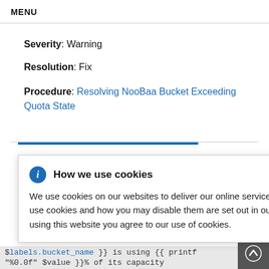MENU
Severity: Warning
Resolution: Fix
Procedure: Resolving NooBaa Bucket Exceeding Quota State
[Figure (screenshot): Cookie consent popup dialog with blue info icon, title 'How we use cookies', close button (×), and body text about cookie usage with a Privacy Statement link.]
$labels.bucket_name }} is using {{ printf "%0.0f" $value }}% of its capacity